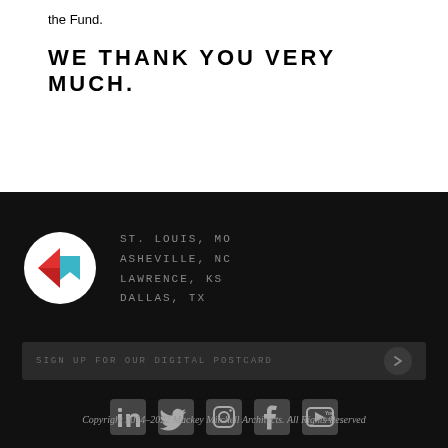the Fund.
WE THANK YOU VERY MUCH.
[Figure (logo): Mackey Mitchell Architects logo: white circle with red and teal geometric arrow/bookmark shapes]
ST. LOUIS, MO
ASHEVILLE, NC
LAWRENCE, KS
DALLAS, TX
SIGN UP FOR OUR DIGITAL POSTCARD
[Figure (infographic): Social media icons: LinkedIn, Twitter, Instagram, Facebook, YouTube]
Copyright 2014–2022 Mackey Mitchell Architects. All Rights Reserved